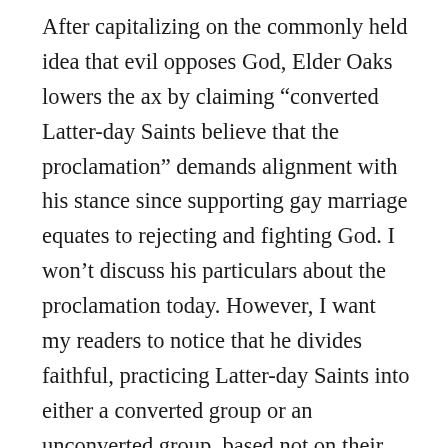After capitalizing on the commonly held idea that evil opposes God, Elder Oaks lowers the ax by claiming “converted Latter-day Saints believe that the proclamation” demands alignment with his stance since supporting gay marriage equates to rejecting and fighting God. I won’t discuss his particulars about the proclamation today. However, I want my readers to notice that he divides faithful, practicing Latter-day Saints into either a converted group or an unconverted group, based not on their testimony of Christ nor of the restoration, but on their agreement with his view that same sex marriage is evil and an attack on families and the plan of salvation. He effectively makes sinners of practicing Latter-day Saints who value the rights of others, respect agency, and believe that God is greater